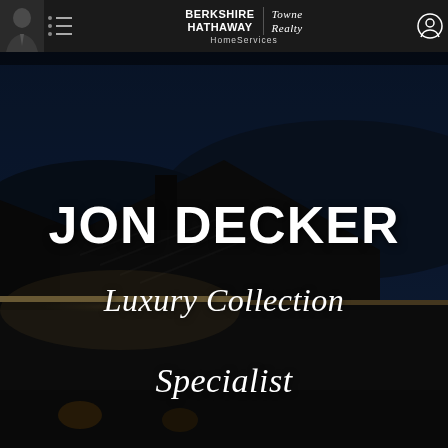[Figure (screenshot): Berkshire Hathaway HomeServices Towne Realty website header navigation bar with agent photo, hamburger menu, company logo, and account icon on dark background]
[Figure (photo): Nighttime exterior photo of a luxury home with illuminated roofline, dark blue sky, and warm accent lighting along the eaves]
JON DECKER
Luxury Collection Specialist